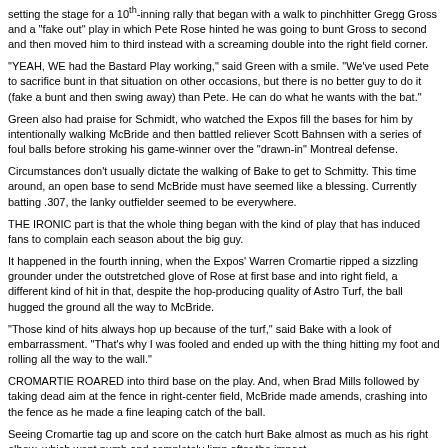setting the stage for a 10th-inning rally that began with a walk to pinchhitter Gregg Gross and a "fake out" play in which Pete Rose hinted he was going to bunt Gross to second and then moved him to third instead with a screaming double into the right field corner.
"YEAH, WE had the Bastard Play working," said Green with a smile. "We've used Pete to sacrifice bunt in that situation on other occasions, but there is no better guy to do it (fake a bunt and then swing away) than Pete. He can do what he wants with the bat."
Green also had praise for Schmidt, who watched the Expos fill the bases for him by intentionally walking McBride and then battled reliever Scott Bahnsen with a series of foul balls before stroking his game-winner over the "drawn-in" Montreal defense.
Circumstances don't usually dictate the walking of Bake to get to Schmitty. This time around, an open base to send McBride must have seemed like a blessing. Currently batting .307, the lanky outfielder seemed to be everywhere.
THE IRONIC part is that the whole thing began with the kind of play that has induced fans to complain each season about the big guy.
It happened in the fourth inning, when the Expos' Warren Cromartie ripped a sizzling grounder under the outstretched glove of Rose at first base and into right field, a different kind of hit in that, despite the hop-producing quality of Astro Turf, the ball hugged the ground all the way to McBride.
"Those kind of hits always hop up because of the turf," said Bake with a look of embarrassment. "That's why I was fooled and ended up with the thing hitting my foot and rolling all the way to the wall."
CROMARTIE ROARED into third base on the play. And, when Brad Mills followed by taking dead aim at the fence in right-center field, McBride made amends, crashing into the fence as he made a fine leaping catch of the ball.
Seeing Cromartie tag up and score on the catch hurt Bake almost as much as his right elbow, which went numb and completely limp after the impact.
"I thought about coming out of the game" admitted McBride. "When I got back to the dugout, I couldn't raise my arm high enough to scratch my nose."